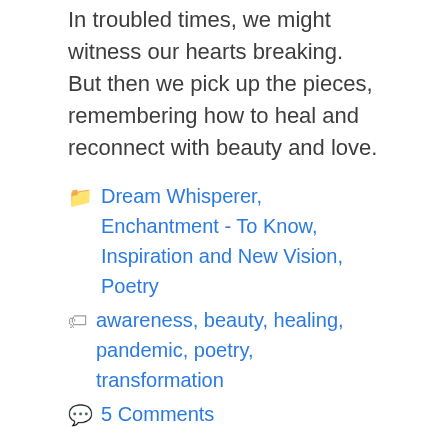In troubled times, we might witness our hearts breaking. But then we pick up the pieces, remembering how to heal and reconnect with beauty and love.
Categories: Dream Whisperer, Enchantment - To Know, Inspiration and New Vision, Poetry
Tags: awareness, beauty, healing, pandemic, poetry, transformation
5 Comments
Psalm Sunday – For International Women's Day, We Cannot Stand Aside